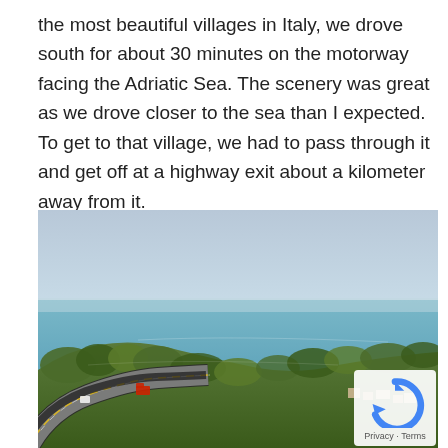the most beautiful villages in Italy, we drove south for about 30 minutes on the motorway facing the Adriatic Sea. The scenery was great as we drove closer to the sea than I expected. To get to that village, we had to pass through it and get off at a highway exit about a kilometer away from it.
[Figure (photo): Aerial view of an Italian motorway curving along a hillside overlooking the Adriatic Sea. The highway has multiple lanes with a few vehicles visible including a red truck. Green trees line the hillside, and a small coastal town is visible near the water. The sea is calm and blue-green, stretching to the horizon under a hazy sky.]